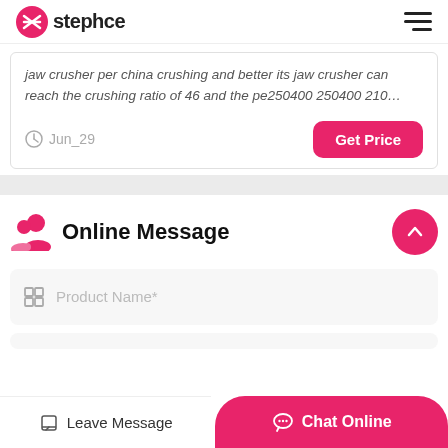stephce
jaw crusher per china crushing and better its jaw crusher can reach the crushing ratio of 46 and the pe250400 250400 210…
Jun_29
Get Price
Online Message
Product Name*
Leave Message
Chat Online